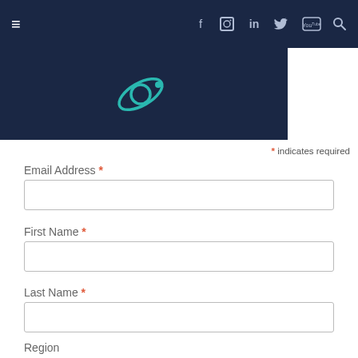[Figure (screenshot): Website navigation bar with hamburger menu icon on left, and social media icons (Facebook, Instagram, LinkedIn, Twitter, YouTube, Search) on right, dark navy background]
[Figure (logo): Teal/cyan outline of a satellite or planet icon on dark navy background]
* indicates required
Email Address *
First Name *
Last Name *
Region